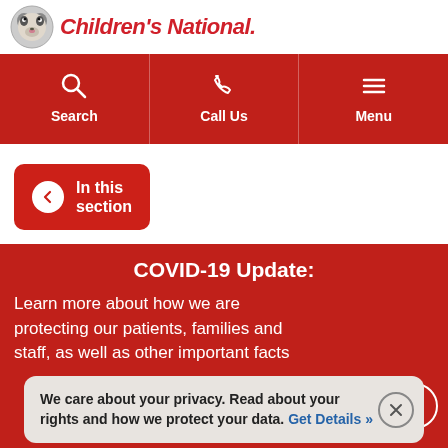[Figure (logo): Children's National hospital logo with raccoon mascot icon and red italic text]
[Figure (screenshot): Navigation bar with Search, Call Us, and Menu buttons on red background with white icons]
[Figure (other): In this section button with left arrow on red rounded rectangle]
COVID-19 Update:
Learn more about how we are protecting our patients, families and staff, as well as other important facts
We care about your privacy. Read about your rights and how we protect your data. Get Details »